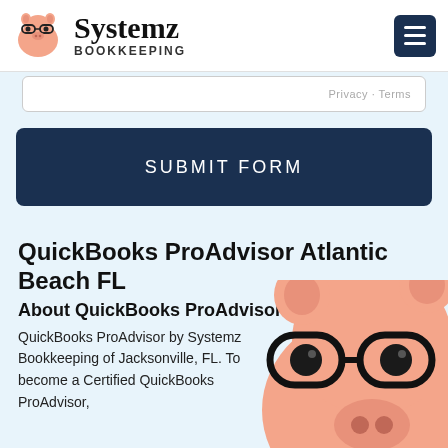Systemz BOOKKEEPING
[Figure (screenshot): Partial form element with Privacy · Terms text visible at right]
SUBMIT FORM
QuickBooks ProAdvisor Atlantic Beach FL
About QuickBooks ProAdvisor Certification
QuickBooks ProAdvisor by Systemz Bookkeeping of Jacksonville, FL. To become a Certified QuickBooks ProAdvisor,
[Figure (photo): Pink pig toy wearing black glasses, partial view at bottom right of page]